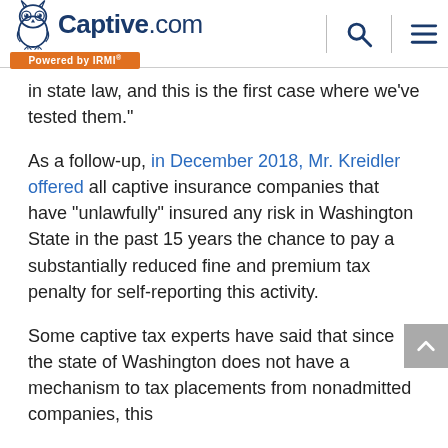Captive.com Powered by IRMI
in state law, and this is the first case where we've tested them."
As a follow-up, in December 2018, Mr. Kreidler offered all captive insurance companies that have "unlawfully" insured any risk in Washington State in the past 15 years the chance to pay a substantially reduced fine and premium tax penalty for self-reporting this activity.
Some captive tax experts have said that since the state of Washington does not have a mechanism to tax placements from nonadmitted companies, this